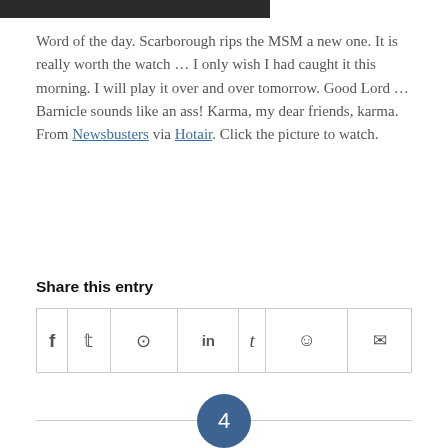[Figure (photo): Top portion of an image (cropped), dark background]
Word of the day. Scarborough rips the MSM a new one. It is really worth the watch … I only wish I had caught it this morning. I will play it over and over tomorrow. Good Lord … Barnicle sounds like an ass! Karma, my dear friends, karma. From Newsbusters via Hotair. Click the picture to watch.
Share this entry
| facebook | twitter | whatsapp | linkedin | tumblr | reddit | email |
| --- | --- | --- | --- | --- | --- | --- |
| f | 𝕥 | ⊙ | in | t | ☺ | ✉ |
4